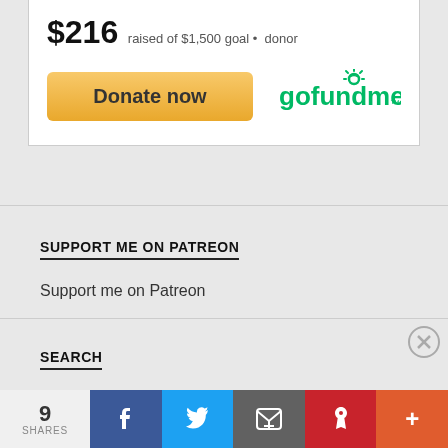$216 raised of $1,500 goal • donor
[Figure (screenshot): GoFundMe widget with Donate now button and gofundme logo]
SUPPORT ME ON PATREON
Support me on Patreon
SEARCH
Advertisements
[Figure (photo): Advertisement image strip showing partial faces]
9 SHARES